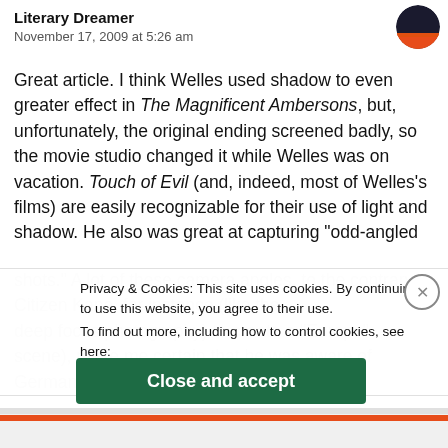Literary Dreamer
November 17, 2009 at 5:26 am
Great article. I think Welles used shadow to even greater effect in The Magnificent Ambersons, but, unfortunately, the original ending screened badly, so the movie studio changed it while Welles was on vacation. Touch of Evil (and, indeed, most of Welles’s films) are easily recognizable for their use of light and shadow. He also was great at capturing “odd-angled shots.” A lot of these camera angles, to the contrary, Citizen Kane, for instance (like the deep focus photography) to create a “European” scene), make me certain that he was aware of German
Privacy & Cookies: This site uses cookies. By continuing to use this website, you agree to their use.
To find out more, including how to control cookies, see here:
Cookie Policy
Close and accept